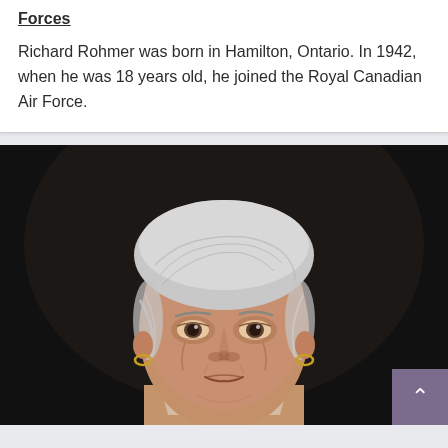Forces
Richard Rohmer was born in Hamilton, Ontario. In 1942, when he was 18 years old, he joined the Royal Canadian Air Force.
[Figure (photo): Close-up portrait of an elderly woman with short white/grey hair, looking directly at the camera. She is wearing gold hoop earrings. The background is dark/black. A purple 'back to top' button with an up arrow chevron is visible in the bottom-right corner of the photo.]